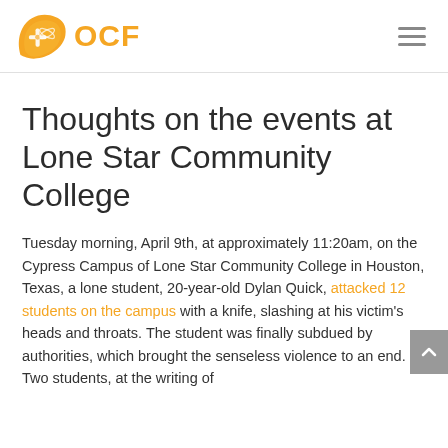OCF
Thoughts on the events at Lone Star Community College
Tuesday morning, April 9th, at approximately 11:20am, on the Cypress Campus of Lone Star Community College in Houston, Texas, a lone student, 20-year-old Dylan Quick, attacked 12 students on the campus with a knife, slashing at his victim's heads and throats. The student was finally subdued by authorities, which brought the senseless violence to an end. Two students, at the writing of